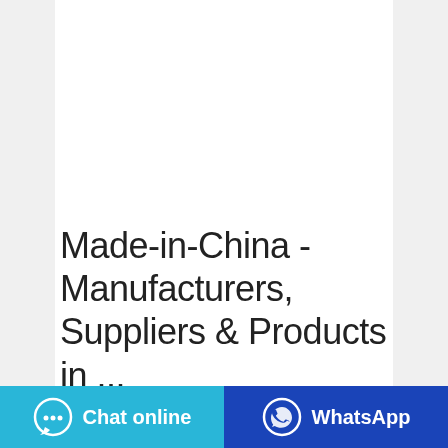[Figure (photo): A yellow product package (detergent/cleaning product bag) standing upright on a light gray background, showing the back side with text panels in orange/red.]
Made-in-China - Manufacturers, Suppliers & Products in ...
Source quality products Made in China. Find reliable China Suppliers, Manufacturers, Wholesalers &